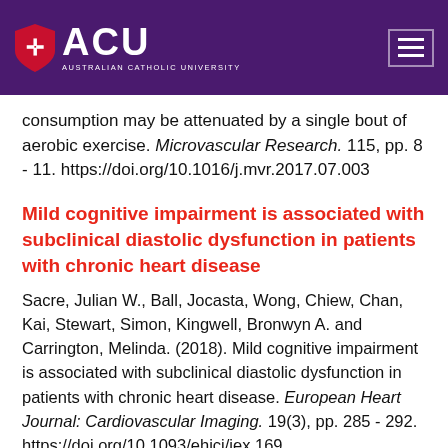[Figure (logo): Australian Catholic University (ACU) logo with shield and text on purple header bar with hamburger menu icon]
consumption may be attenuated by a single bout of aerobic exercise. Microvascular Research. 115, pp. 8 - 11. https://doi.org/10.1016/j.mvr.2017.07.003
Mild cognitive impairment is associated with subclinical diastolic dysfunction in patients with chronic heart disease
Sacre, Julian W., Ball, Jocasta, Wong, Chiew, Chan, Kai, Stewart, Simon, Kingwell, Bronwyn A. and Carrington, Melinda. (2018). Mild cognitive impairment is associated with subclinical diastolic dysfunction in patients with chronic heart disease. European Heart Journal: Cardiovascular Imaging. 19(3), pp. 285 - 292. https://doi.org/10.1093/ehjci/jex169.